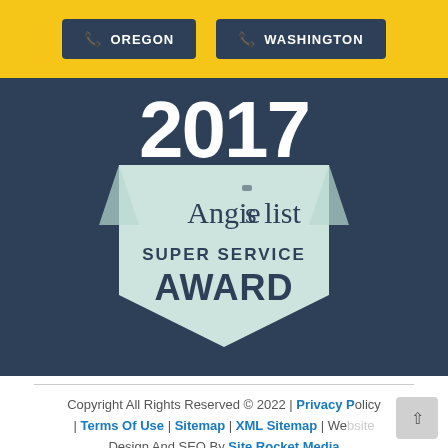OREGON | WASHINGTON
[Figure (logo): 2017 Angie's List Super Service Award badge/shield on dark blue background]
Copyright All Rights Reserved © 2022 | Privacy Policy | Terms Of Use | Sitemap | XML Sitemap | Website Design And SEO By Site Rocket Media